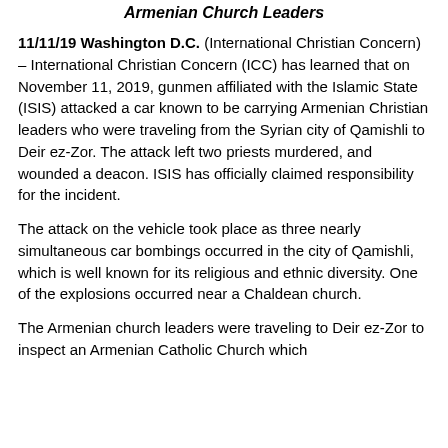Armenian Church Leaders
11/11/19 Washington D.C. (International Christian Concern) – International Christian Concern (ICC) has learned that on November 11, 2019, gunmen affiliated with the Islamic State (ISIS) attacked a car known to be carrying Armenian Christian leaders who were traveling from the Syrian city of Qamishli to Deir ez-Zor. The attack left two priests murdered, and wounded a deacon. ISIS has officially claimed responsibility for the incident.
The attack on the vehicle took place as three nearly simultaneous car bombings occurred in the city of Qamishli, which is well known for its religious and ethnic diversity. One of the explosions occurred near a Chaldean church.
The Armenian church leaders were traveling to Deir ez-Zor to inspect an Armenian Catholic Church which